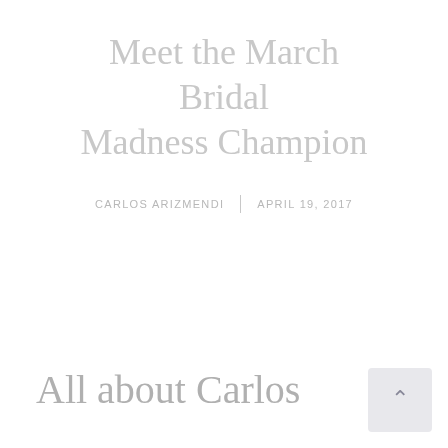Meet the March Bridal Madness Champion
CARLOS ARIZMENDI | APRIL 19, 2017
All about Carlos